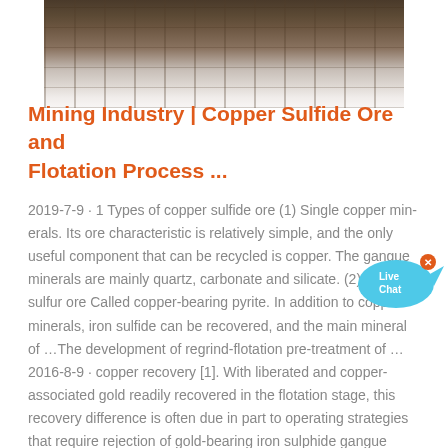[Figure (photo): Industrial mining equipment photo, showing machinery with dark metallic tones, fading into white at the bottom]
Mining Industry | Copper Sulfide Ore and Flotation Process ...
2019-7-9 · 1 Types of copper sulfide ore (1) Single copper minerals Its ore characteristic is relatively simple, and the only useful component that can be recycled is copper. The gangue minerals are mainly quartz, carbonate and silicate. (2) Copper-sulfur ore Called copper-bearing pyrite. In addition to copper minerals, iron sulfide can be recovered, and the main mineral of …The development of regrind-flotation pre-treatment of …2016-8-9 · copper recovery [1]. With liberated and copper-associated gold readily recovered in the flotation stage, this recovery difference is often due in part to operating strategies that require rejection of gold-bearing iron sulphide gangue minerals in order to maintain a saleable copper concentrate grade. To minimise gold losses, it is a common ...
[Figure (illustration): Live Chat button bubble in cyan/blue color with fish-tail shape and close X button]